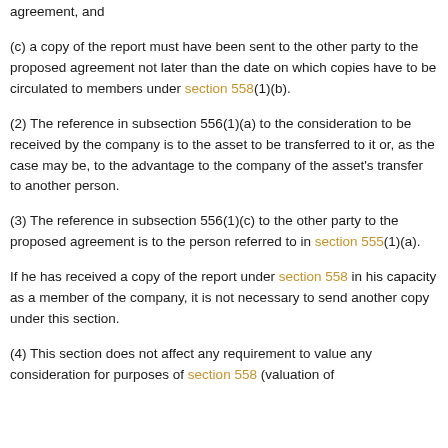agreement, and
(c) a copy of the report must have been sent to the other party to the proposed agreement not later than the date on which copies have to be circulated to members under section 558(1)(b).
(2) The reference in subsection 556(1)(a) to the consideration to be received by the company is to the asset to be transferred to it or, as the case may be, to the advantage to the company of the asset's transfer to another person.
(3) The reference in subsection 556(1)(c) to the other party to the proposed agreement is to the person referred to in section 555(1)(a).
If he has received a copy of the report under section 558 in his capacity as a member of the company, it is not necessary to send another copy under this section.
(4) This section does not affect any requirement to value any consideration for purposes of section 558 (valuation of...